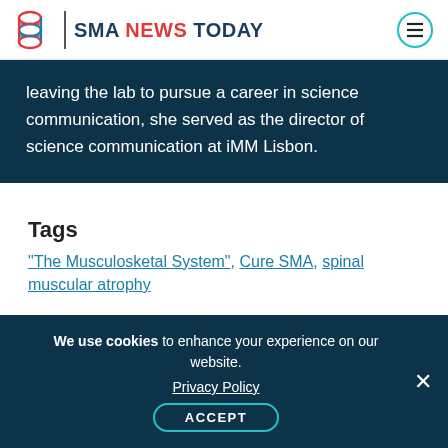SMA NEWS TODAY
leaving the lab to pursue a career in science communication, she served as the director of science communication at iMM Lisbon.
Tags
"The Musculosketal System", Cure SMA, spinal muscular atrophy
We use cookies to enhance your experience on our website. Privacy Policy ACCEPT